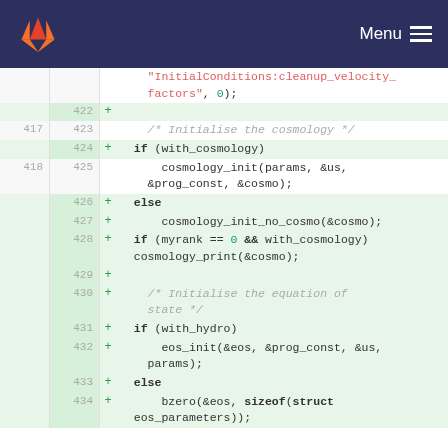Menu
[Figure (screenshot): GitLab code diff view showing C source code additions around cosmology and equation of state initialization, lines 417-434]